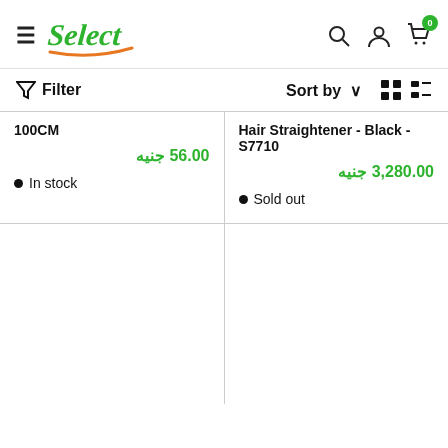[Figure (logo): Select store logo in green italic script with orange underline]
Filter
Sort by
100CM
56.00 جنيه
In stock
Hair Straightener - Black - S7710
3,280.00 جنيه
Sold out